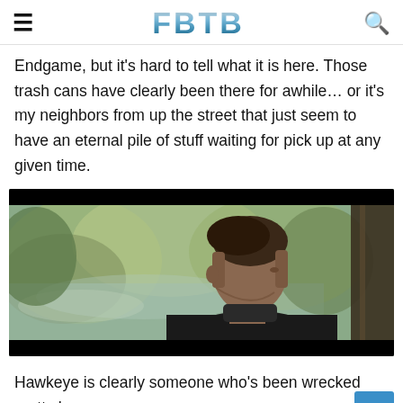FBTB
Endgame, but it's hard to tell what it is here. Those trash cans have clearly been there for awhile… or it's my neighbors from up the street that just seem to have an eternal pile of stuff waiting for pick up at any given time.
[Figure (photo): A man with a styled undercut hairstyle shown in side profile near a window, wearing a dark jacket. The background shows a blurred outdoor scene with trees and water. The image has black letterbox bars at top and bottom.]
Hawkeye is clearly someone who's been wrecked pretty h...